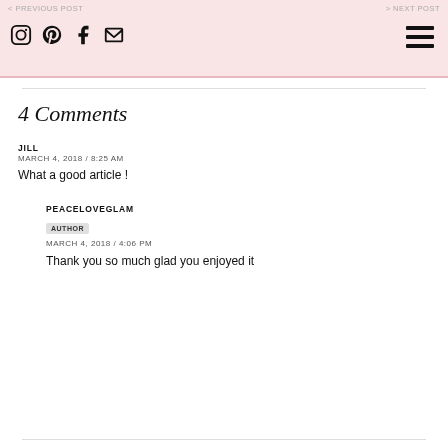< PREVIOUS POST   > NEXT POST
4 Comments
JILL
MARCH 4, 2018 / 8:25 AM
What a good article !
PEACELOVEGLAM
AUTHOR
MARCH 4, 2018 / 4:06 PM
Thank you so much glad you enjoyed it